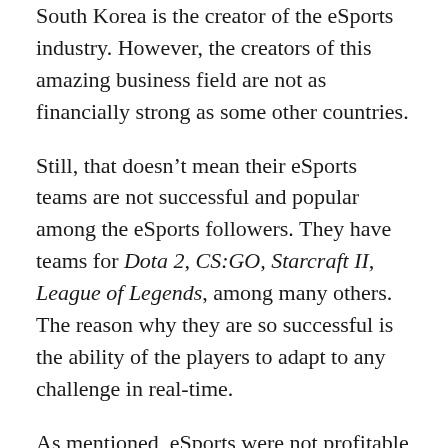South Korea is the creator of the eSports industry. However, the creators of this amazing business field are not as financially strong as some other countries.
Still, that doesn't mean their eSports teams are not successful and popular among the eSports followers. They have teams for Dota 2, CS:GO, Starcraft II, League of Legends, among many others. The reason why they are so successful is the ability of the players to adapt to any challenge in real-time.
As mentioned, eSports were not profitable as for other countries. For instance, South Korean players have, so far, managed to earn around 80 million dollars. However, it is important to mention there are "only" 3.6 active players in the industry. This only means their gamblers were successful in many tournaments.
3  The USA, of course